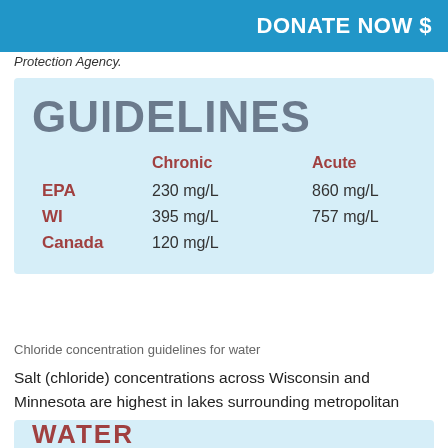DONATE NOW $
Protection Agency.
|  | Chronic | Acute |
| --- | --- | --- |
| EPA | 230 mg/L | 860 mg/L |
| WI | 395 mg/L | 757 mg/L |
| Canada | 120 mg/L |  |
Chloride concentration guidelines for water
Salt (chloride) concentrations across Wisconsin and Minnesota are highest in lakes surrounding metropolitan areas. Other areas reporting high concentrations are along major interstates, such as Interstate Highway 94.
WATER